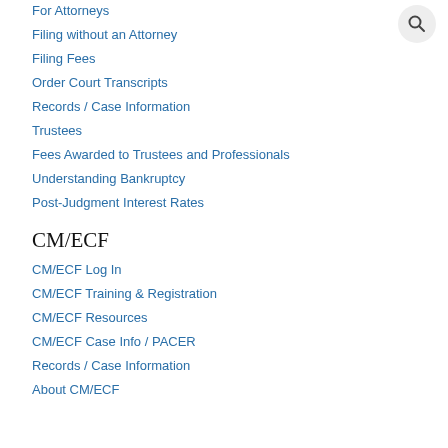For Attorneys
Filing without an Attorney
Filing Fees
Order Court Transcripts
Records / Case Information
Trustees
Fees Awarded to Trustees and Professionals
Understanding Bankruptcy
Post-Judgment Interest Rates
CM/ECF
CM/ECF Log In
CM/ECF Training & Registration
CM/ECF Resources
CM/ECF Case Info / PACER
Records / Case Information
About CM/ECF